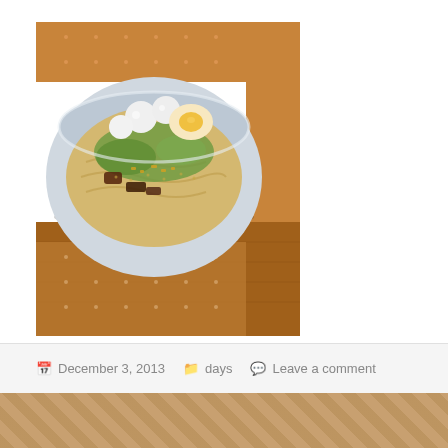[Figure (photo): A bowl of noodles topped with fish balls, a halved boiled egg, green herbs/vegetables, and other toppings, placed on a woven brown tablecloth/placemat at a restaurant.]
Noodle we ate together. 50B
December 3, 2013   days   Leave a comment